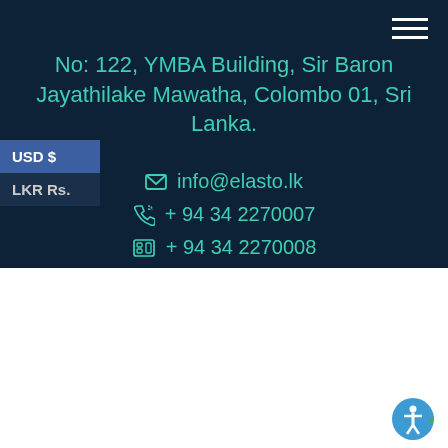No: 122, YMBA Building, Sir Baron Jayathilake Mawatha, Colombo 01, Sri Lanka.
USD $
LKR Rs.
info@elasto.lk
+ 94 34 2270007
+ 94 34 2270008
We use cookies on our website to give you the most relevant experience by remembering your preferences and repeat visits. By clicking “Accept”, you consent to the use of ALL the cookies.
Cookie settings
ACCEPT